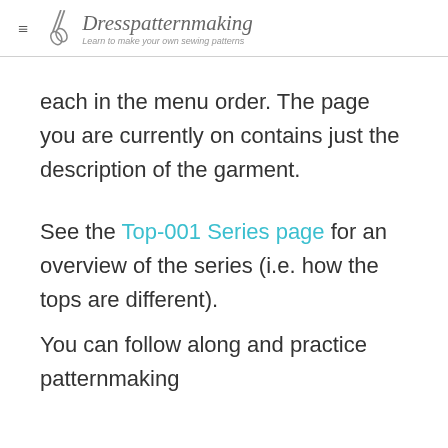Dresspatternmaking — Learn to make your own sewing patterns
each in the menu order. The page you are currently on contains just the description of the garment.
See the Top-001 Series page for an overview of the series (i.e. how the tops are different).
You can follow along and practice patternmaking